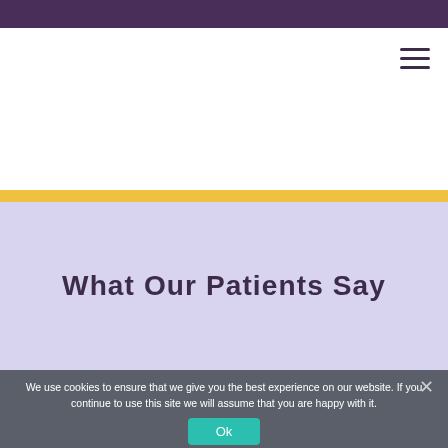[Figure (other): Hamburger menu icon (three horizontal lines) in top right of white navigation header area]
What Our Patients Say
We use cookies to ensure that we give you the best experience on our website. If you continue to use this site we will assume that you are happy with it.